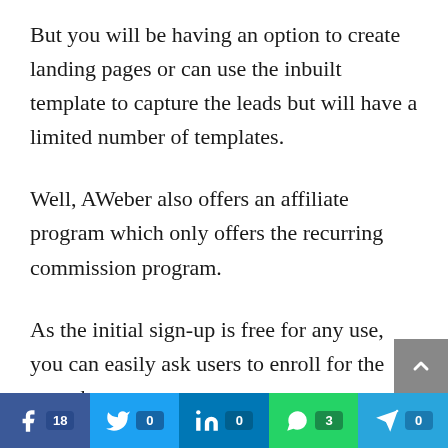But you will be having an option to create landing pages or can use the inbuilt template to capture the leads but will have a limited number of templates.
Well, AWeber also offers an affiliate program which only offers the recurring commission program.
As the initial sign-up is free for any use, you can easily ask users to enroll for the same but